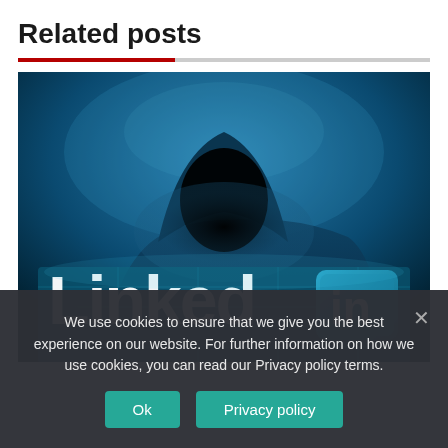Related posts
[Figure (photo): A hooded silhouette figure (hacker) in dark blue lighting, with a LinkedIn logo and '3D in' badge in the foreground, representing a cybersecurity/hacking themed LinkedIn image.]
We use cookies to ensure that we give you the best experience on our website. For further information on how we use cookies, you can read our Privacy policy terms.